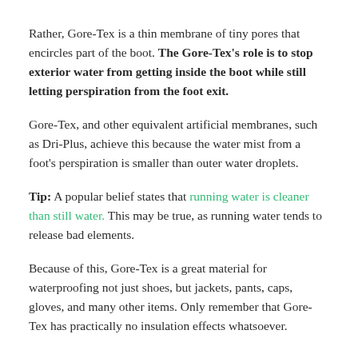Rather, Gore-Tex is a thin membrane of tiny pores that encircles part of the boot. The Gore-Tex's role is to stop exterior water from getting inside the boot while still letting perspiration from the foot exit.
Gore-Tex, and other equivalent artificial membranes, such as Dri-Plus, achieve this because the water mist from a foot's perspiration is smaller than outer water droplets.
Tip: A popular belief states that running water is cleaner than still water. This may be true, as running water tends to release bad elements.
Because of this, Gore-Tex is a great material for waterproofing not just shoes, but jackets, pants, caps, gloves, and many other items. Only remember that Gore-Tex has practically no insulation effects whatsoever.